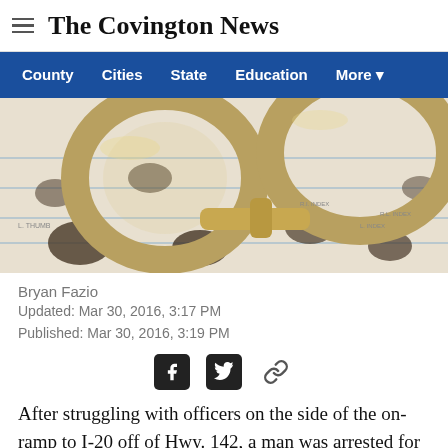The Covington News
County  Cities  State  Education  More
[Figure (photo): Close-up photo of handcuffs resting on a fingerprint card with multiple inked fingerprints visible]
Bryan Fazio
Updated: Mar 30, 2016, 3:17 PM
Published: Mar 30, 2016, 3:19 PM
After struggling with officers on the side of the on-ramp to I-20 off of Hwy. 142, a man was arrested for stealing hundreds of dollars' worth of groceries from